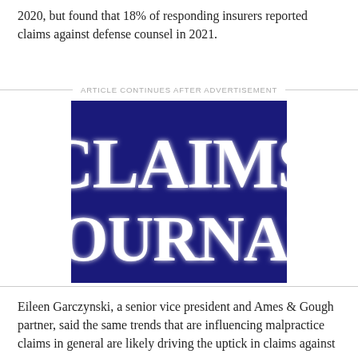2020, but found that 18% of responding insurers reported claims against defense counsel in 2021.
[Figure (logo): Claims Journal logo: dark navy blue rectangle with white bold serif text reading 'CLAIMS JOURNAL' on two lines]
Eileen Garczynski, a senior vice president and Ames & Gough partner, said the same trends that are influencing malpractice claims in general are likely driving the uptick in claims against